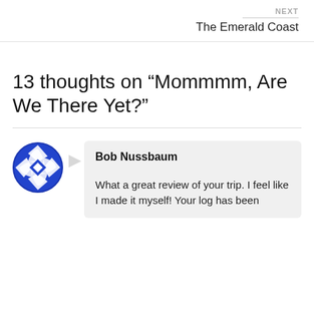NEXT
The Emerald Coast
13 thoughts on “Mommmm, Are We There Yet?”
Bob Nussbaum
What a great review of your trip. I feel like I made it myself! Your log has been
[Figure (logo): Blue and white circular logo with geometric star/pinwheel pattern]